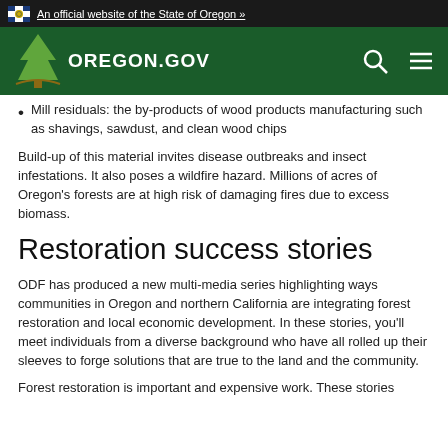An official website of the State of Oregon »
[Figure (logo): Oregon.gov logo with tree on dark green navigation bar with search and menu icons]
Mill residuals: the by-products of wood products manufacturing such as shavings, sawdust, and clean wood chips
Build-up of this material invites disease outbreaks and insect infestations. It also poses a wildfire hazard. Millions of acres of Oregon's forests are at high risk of damaging fires due to excess biomass.
Restoration success stories
ODF has produced a new multi-media series highlighting ways communities in Oregon and northern California are integrating forest restoration and local economic development. In these stories, you'll meet individuals from a diverse background who have all rolled up their sleeves to forge solutions that are true to the land and the community.
Forest restoration is important and expensive work. These stories